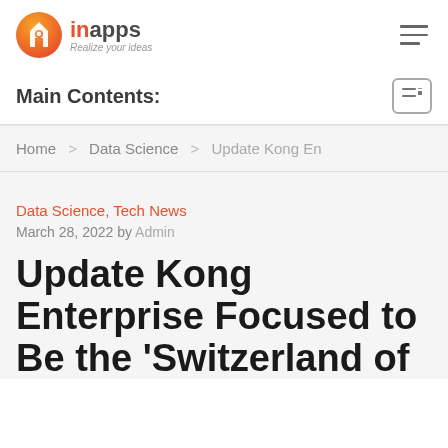[Figure (logo): InApps logo: orange circle with house/pin icon and 'inapps Realize your ideas' text]
Main Contents:
Home > Data Science > Update Kong En
Data Science, Tech News
March 28, 2022 by Admin
Update Kong Enterprise Focused to Be the 'Switzerland of